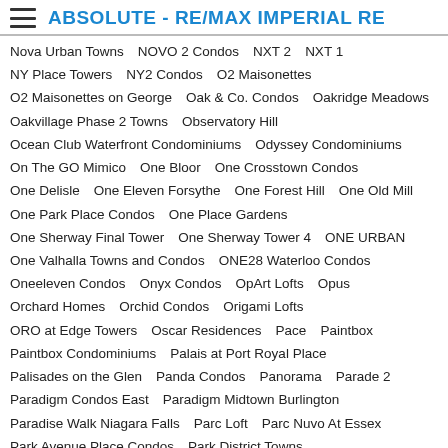ABSOLUTE - RE/MAX IMPERIAL RE
Nova Urban Towns   NOVO 2 Condos   NXT 2   NXT 1
NY Place Towers   NY2 Condos   O2 Maisonettes
O2 Maisonettes on George   Oak & Co. Condos   Oakridge Meadows
Oakvillage Phase 2 Towns   Observatory Hill
Ocean Club Waterfront Condominiums   Odyssey Condominiums
On The GO Mimico   One Bloor   One Crosstown Condos
One Delisle   One Eleven Forsythe   One Forest Hill   One Old Mill
One Park Place Condos   One Place Gardens
One Sherway Final Tower   One Sherway Tower 4   ONE URBAN
One Valhalla Towns and Condos   ONE28 Waterloo Condos
Oneeleven Condos   Onyx Condos   OpArt Lofts   Opus
Orchard Homes   Orchid Condos   Origami Lofts
ORO at Edge Towers   Oscar Residences   Pace   Paintbox
Paintbox Condominiums   Palais at Port Royal Place
Palisades on the Glen   Panda Condos   Panorama   Parade 2
Paradigm Condos East   Paradigm Midtown Burlington
Paradise Walk Niagara Falls   Parc Loft   Parc Nuvo At Essex
Park Avenue Place Condos   Park District Towns
Park Lake Residences   Park Place VMC Condos
Park Terraces 2 Valhalla   Park Towers Condominiums at IQ
Park Towns   ParkCity Condominiums   Parkview Lakefront Resid...
PARLIAMENT & CO COMMERCIAL LOFTS   Pavilia Park Towers